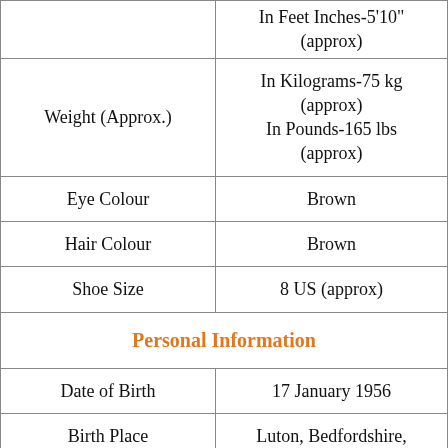|  |  |
| --- | --- |
|  | In Feet Inches-5'10" (approx) |
| Weight (Approx.) | In Kilograms-75 kg (approx)
In Pounds-165 lbs (approx) |
| Eye Colour | Brown |
| Hair Colour | Brown |
| Shoe Size | 8 US (approx) |
| Personal Information |  |
| Date of Birth | 17 January 1956 |
| Birth Place | Luton, Bedfordshire, |